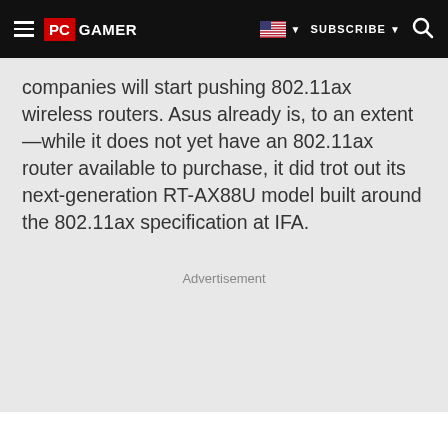PC GAMER | SUBSCRIBE
companies will start pushing 802.11ax wireless routers. Asus already is, to an extent—while it does not yet have an 802.11ax router available to purchase, it did trot out its next-generation RT-AX88U model built around the 802.11ax specification at IFA.
Advertisement